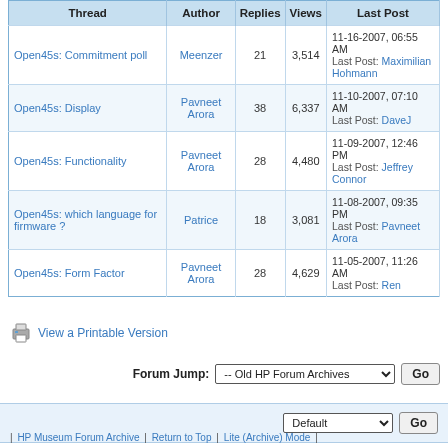| Thread | Author | Replies | Views | Last Post |
| --- | --- | --- | --- | --- |
| Open45s: Commitment poll | Meenzer | 21 | 3,514 | 11-16-2007, 06:55 AM
Last Post: Maximilian Hohmann |
| Open45s: Display | Pavneet Arora | 38 | 6,337 | 11-10-2007, 07:10 AM
Last Post: DaveJ |
| Open45s: Functionality | Pavneet Arora | 28 | 4,480 | 11-09-2007, 12:46 PM
Last Post: Jeffrey Connor |
| Open45s: which language for firmware ? | Patrice | 18 | 3,081 | 11-08-2007, 09:35 PM
Last Post: Pavneet Arora |
| Open45s: Form Factor | Pavneet Arora | 28 | 4,629 | 11-05-2007, 11:26 AM
Last Post: Ren |
View a Printable Version
Forum Jump: -- Old HP Forum Archives
Default
| HP Museum Forum Archive | Return to Top | Lite (Archive) Mode |